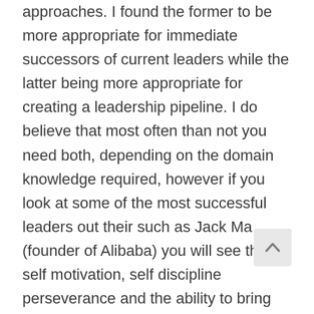approaches. I found the former to be more appropriate for immediate successors of current leaders while the latter being more appropriate for creating a leadership pipeline. I do believe that most often than not you need both, depending on the domain knowledge required, however if you look at some of the most successful leaders out their such as Jack Ma (founder of Alibaba) you will see that self motivation, self discipline perseverance and the ability to bring the right people together are key traits for leaders.
7. What is one meaningful story that